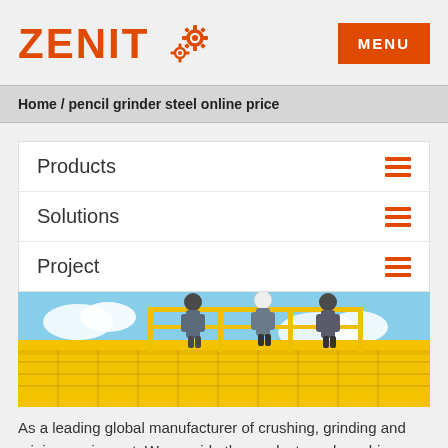[Figure (logo): Zenit logo with orange text and gear icons]
MENU
Home / pencil grinder steel online price
Products
Solutions
Project
[Figure (photo): Workers standing on yellow industrial mining machinery platform against blue sky]
As a leading global manufacturer of crushing, grinding and mining equipment, We provide the products and machinery...